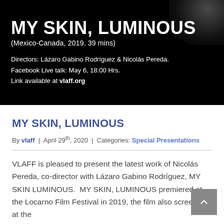[Figure (photo): Dark banner/promotional image for the film 'My Skin, Luminous' with white text showing title, subtitle, directors, Facebook Live talk info, and website link on black background.]
MY SKIN, LUMINOUS
By vlaff | April 29th, 2020 | Categories: Special Presentations
VLAFF is pleased to present the latest work of Nicolás Pereda, co-director with Lázaro Gabino Rodríguez, MY SKIN LUMINOUS.  MY SKIN, LUMINOUS premiered at the Locarno Film Festival in 2019, the film also screened at the